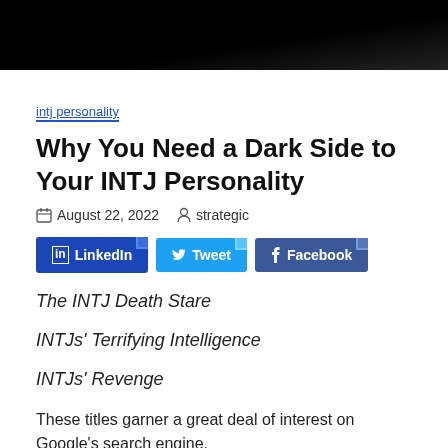[Figure (photo): Dark moody photo at top of page, mostly black with faint texture]
intj personality
Why You Need a Dark Side to Your INTJ Personality
August 22, 2022   strategic
[Figure (infographic): Social share buttons: LinkedIn, Tweet, Facebook]
The INTJ Death Stare
INTJs' Terrifying Intelligence
INTJs' Revenge
These titles garner a great deal of interest on Google's search engine.